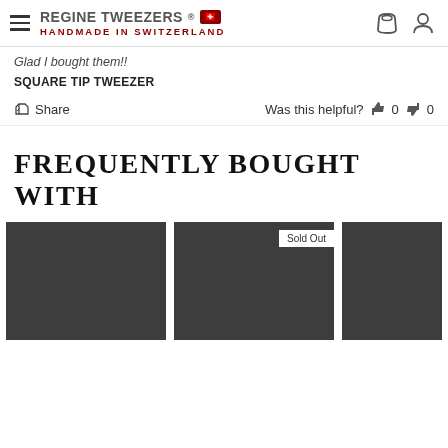REGINE TWEEZERS® Handmade in Switzerland
Glad I bought them!!
SQUARE TIP TWEEZER
Share   Was this helpful?  0  0
FREQUENTLY BOUGHT WITH
[Figure (photo): Three product image placeholders shown as dark grey rectangles, the middle one has a 'Sold Out' badge in the top right corner]
Sold Out